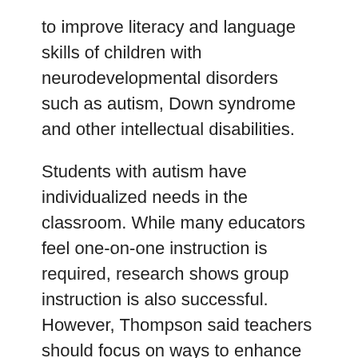to improve literacy and language skills of children with neurodevelopmental disorders such as autism, Down syndrome and other intellectual disabilities.
Students with autism have individualized needs in the classroom. While many educators feel one-on-one instruction is required, research shows group instruction is also successful. However, Thompson said teachers should focus on ways to enhance the group instruction to meet those individualized needs.
One way is through direct instruction, which includes clear, consistent and precise directions and materials that promote student mastery. It is designed for small-group instruction and relies